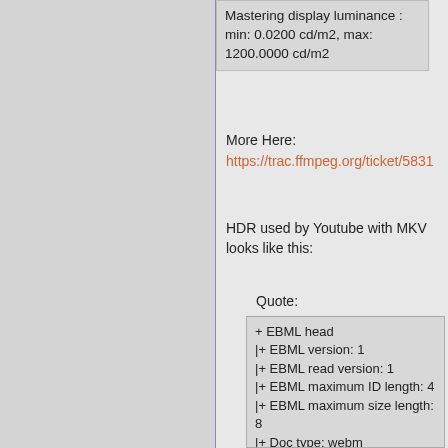Mastering display luminance : min: 0.0200 cd/m2, max: 1200.0000 cd/m2
More Here:
https://trac.ffmpeg.org/ticket/5831
HDR used by Youtube with MKV looks like this:
Quote:
+ EBML head
|+ EBML version: 1
|+ EBML read version: 1
|+ EBML maximum ID length: 4
|+ EBML maximum size length: 8
|+ Doc type: webm
|+ Doc type version: 4
|+ Doc type read version: 2
+ Segment, size 29548815
|+ Seek head (subentries will be skipped)
|+ EbmlVoid (size: 45)
|+ Segment information
| + Timecode scale: 1000000